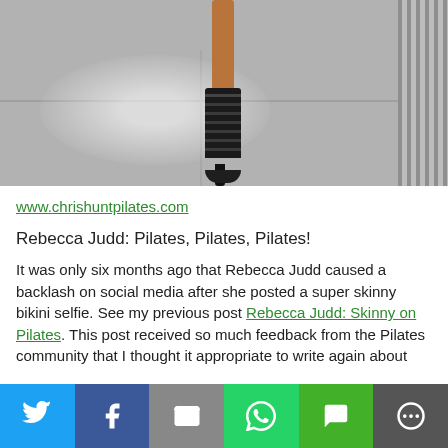[Figure (photo): Photo of a person's leg wearing a black strappy high-heel sandal, standing on pavement with a grated surface visible on the right side.]
www.chrishuntpilates.com
Rebecca Judd: Pilates, Pilates, Pilates!
It was only six months ago that Rebecca Judd caused a backlash on social media after she posted a super skinny bikini selfie. See my previous post Rebecca Judd: Skinny on Pilates. This post received so much feedback from the Pilates community that I thought it appropriate to write again about
[Figure (infographic): Social sharing bar with icons for Twitter (blue), Facebook (dark blue), Email (grey), WhatsApp (green), SMS (green), and More/share (dark grey).]